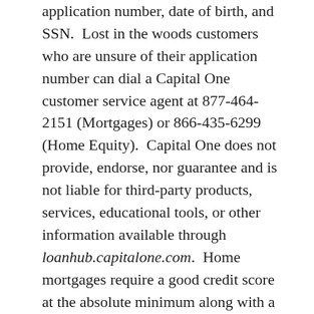application number, date of birth, and SSN. Lost in the woods customers who are unsure of their application number can dial a Capital One customer service agent at 877-464-2151 (Mortgages) or 866-435-6299 (Home Equity). Capital One does not provide, endorse, nor guarantee and is not liable for third-party products, services, educational tools, or other information available through loanhub.capitalone.com. Home mortgages require a good credit score at the absolute minimum along with a few years of steady income that matches the homes asking price. People who cannot afford a home loan should look into renting an apartment and save money for a down payment. Current loan holders who are looking to make a payment vis US mail have two options: Regular Payment Address Capital One, N.A. P.O. Box 105385 Atlanta, GA 30348-5385 or Overnight Payment Address Capital One, N.A. 1 Remitco Way Columbus, GA 31907-3064. Customers looking to simply write to Capital